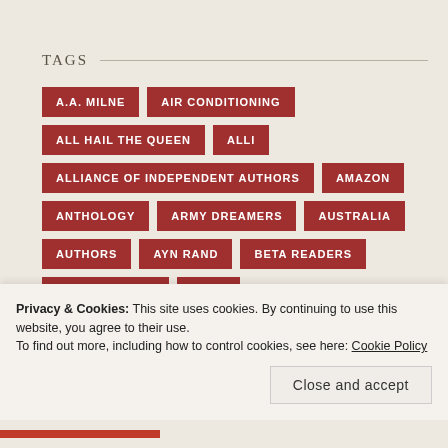TAGS
A.A. MILNE
AIR CONDITIONING
ALL HAIL THE QUEEN
ALLI
ALLIANCE OF INDEPENDENT AUTHORS
AMAZON
ANTHOLOGY
ARMY DREAMERS
AUSTRALIA
AUTHORS
AYN RAND
BETA READERS
BINGE WRITING
BLOG
BUSINESS FOR WRITERS
CHARLES DE LINT
Privacy & Cookies: This site uses cookies. By continuing to use this website, you agree to their use.
To find out more, including how to control cookies, see here: Cookie Policy
Close and accept